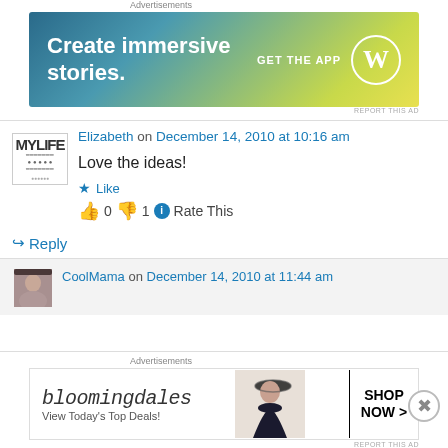Advertisements
[Figure (infographic): WordPress advertisement banner: 'Create immersive stories. GET THE APP' with WordPress logo]
REPORT THIS AD
Elizabeth on December 14, 2010 at 10:16 am
Love the ideas!
Like
0  1  Rate This
Reply
CoolMama on December 14, 2010 at 11:44 am
Advertisements
[Figure (infographic): Bloomingdales advertisement: 'bloomingdales View Today's Top Deals! SHOP NOW >']